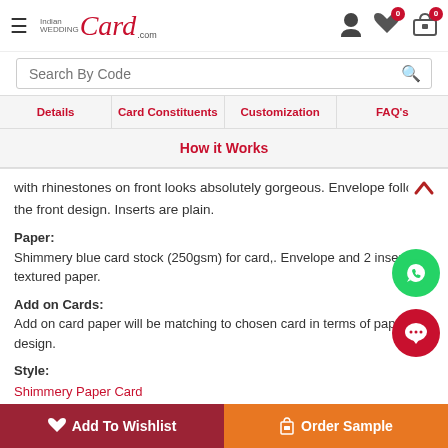IndianWeddingCard.com — Search By Code — Details | Card Constituents | Customization | FAQ's | How it Works
with rhinestones on front looks absolutely gorgeous. Envelope follows the front design. Inserts are plain.
Paper: Shimmery blue card stock (250gsm) for card,. Envelope and 2 inserts in textured paper.
Add on Cards: Add on card paper will be matching to chosen card in terms of paper and design.
Style: Shimmery Paper Card